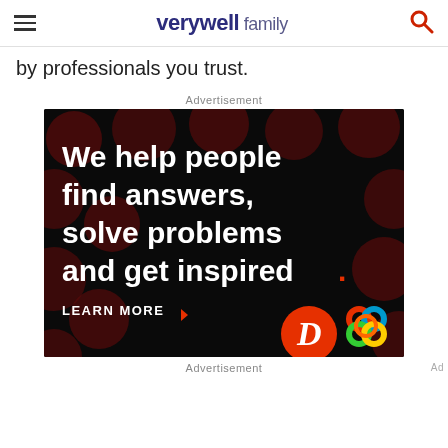verywell family
by professionals you trust.
Advertisement
[Figure (illustration): Dotdash Meredith advertisement on black background with dark red polka dot pattern. White bold text reads: 'We help people find answers, solve problems and get inspired.' with a red period. Below left: 'LEARN MORE' with red arrow. Bottom right: Dotdash D logo (red circle with white D) and colorful Meredith knot logo.]
Advertisement